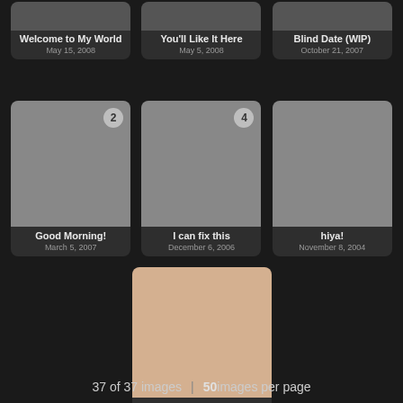[Figure (illustration): Gallery card: Welcome to My World, May 15, 2008]
[Figure (illustration): Gallery card: You'll Like It Here, May 5, 2008]
[Figure (illustration): Gallery card: Blind Date (WIP), October 21, 2007]
[Figure (illustration): Gallery card with badge 2: Good Morning!, March 5, 2007]
[Figure (illustration): Gallery card with badge 4: I can fix this, December 6, 2006]
[Figure (illustration): Gallery card: hiya!, November 8, 2004]
[Figure (illustration): Gallery card: Catch me if you can, December 23, 2003]
37 of 37 images | 50 images per page